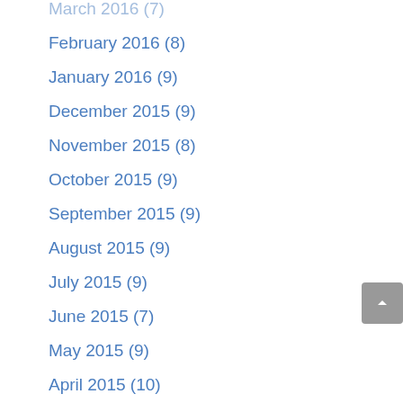March 2016 (7)
February 2016 (8)
January 2016 (9)
December 2015 (9)
November 2015 (8)
October 2015 (9)
September 2015 (9)
August 2015 (9)
July 2015 (9)
June 2015 (7)
May 2015 (9)
April 2015 (10)
March 2015 (8)
February 2015 (8)
January 2015 (9)
December 2014 (10)
November 2014 (8)
October 2014 (10)